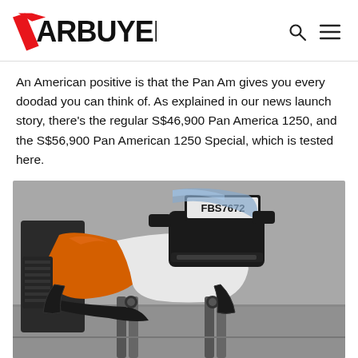CARBUYER
An American positive is that the Pan Am gives you every doodad you can think of. As explained in our news launch story, there's the regular S$46,900 Pan America 1250, and the S$56,900 Pan American 1250 Special, which is tested here.
[Figure (photo): Close-up photo of the front section of a Harley-Davidson Pan American 1250 Special motorcycle in orange and white, with license plate FBS7672, showing the headlight cluster, front forks, and bodywork, parked on a road.]